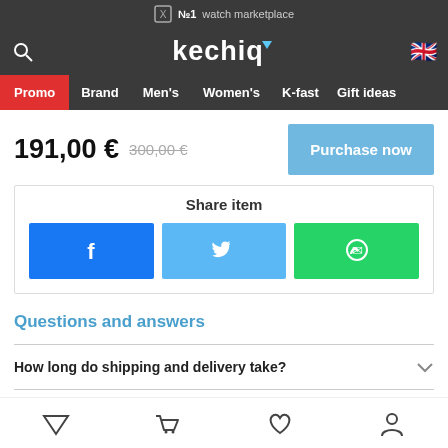№1 watch marketplace
[Figure (logo): Kechiq watch marketplace logo with navigation]
191,00 € 300,00 € | Purchase now
Share item
[Figure (infographic): Social share buttons: Facebook, Twitter, WhatsApp]
Questions and answers
How long do shipping and delivery take?
Bottom navigation: filter, cart, wishlist, account